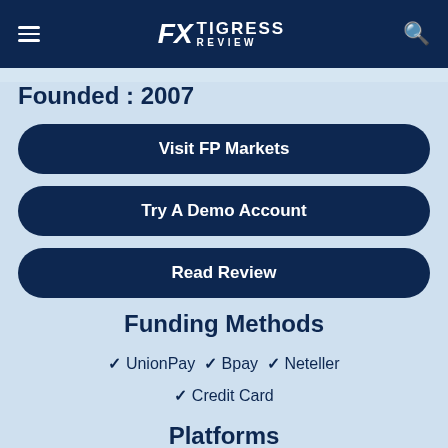FX TIGRESS REVIEW
Founded : 2007
Visit FP Markets
Try A Demo Account
Read Review
Funding Methods
✓ UnionPay  ✓ Bpay  ✓ Neteller  ✓ Credit Card
Platforms